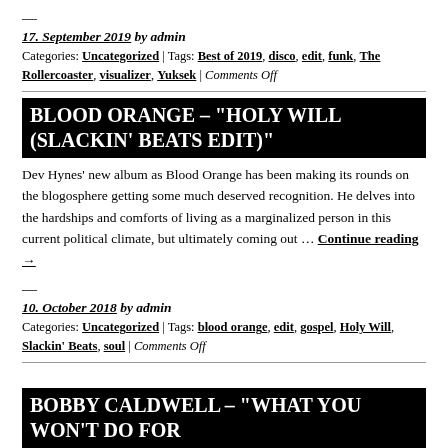—
17. September 2019 by admin
Categories: Uncategorized | Tags: Best of 2019, disco, edit, funk, The Rollercoaster, visualizer, Yuksek | Comments Off
BLOOD ORANGE – "HOLY WILL (SLACKIN' BEATS EDIT)"
Dev Hynes' new album as Blood Orange has been making its rounds on the blogosphere getting some much deserved recognition. He delves into the hardships and comforts of living as a marginalized person in this current political climate, but ultimately coming out … Continue reading →
—
10. October 2018 by admin
Categories: Uncategorized | Tags: blood orange, edit, gospel, Holy Will, Slackin' Beats, soul | Comments Off
BOBBY CALDWELL – "WHAT YOU WON'T DO FOR